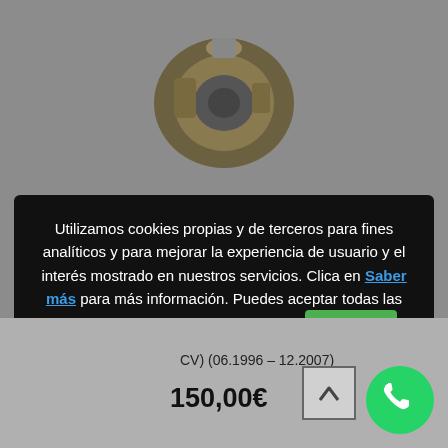[Figure (photo): Alternator/auto part photo on grey background]
Utilizamos cookies propias y de terceros para fines analíticos y para mejorar la experiencia de usuario y el interés mostrado en nuestros servicios. Clica en Saber más para más información. Puedes aceptar todas las cookies necesarias pulsando el botón Aceptar o configurarlas o rechazar su uso pulsando el botón Configuración.
CV) (06.1996 – 12.2007)
150,00€
[Figure (logo): WhatsApp green circle icon]